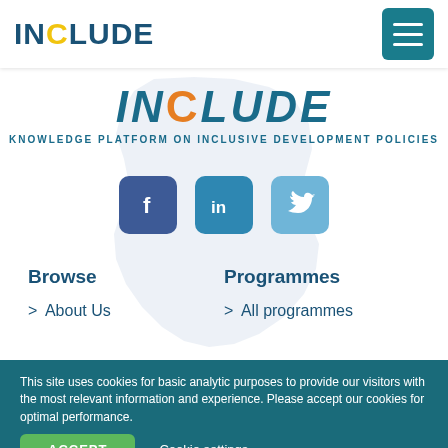INCLUDE
[Figure (logo): INCLUDE logo with colorful O and tagline: KNOWLEDGE PLATFORM ON INCLUSIVE DEVELOPMENT POLICIES, on Africa map silhouette background]
[Figure (infographic): Social media icons: Facebook, LinkedIn, Twitter]
Browse
Programmes
> About Us
> All programmes
This site uses cookies for basic analytic purposes to provide our visitors with the most relevant information and experience. Please accept our cookies for optimal performance.
ACCEPT   Cookie settings